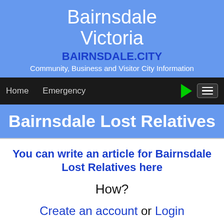Bairnsdale Victoria
BAIRNSDALE.CITY
Community, Business and Visitor City Information
Home   Emergency
Bairnsdale Lost Relatives
You can write an article for Bairnsdale Lost Relatives here
How?
Create an account or Login
To make an article is easy with your "Articles Menu"